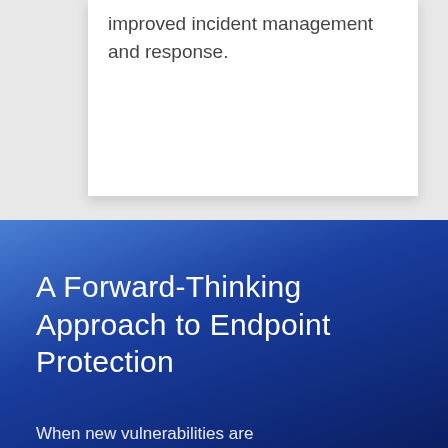improved incident management and response.
A Forward-Thinking Approach to Endpoint Protection
When new vulnerabilities are